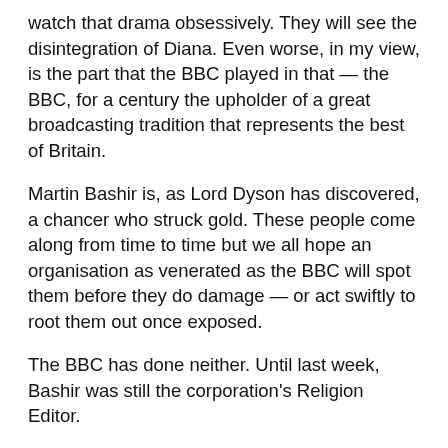watch that drama obsessively. They will see the disintegration of Diana. Even worse, in my view, is the part that the BBC played in that — the BBC, for a century the upholder of a great broadcasting tradition that represents the best of Britain.
Martin Bashir is, as Lord Dyson has discovered, a chancer who struck gold. These people come along from time to time but we all hope an organisation as venerated as the BBC will spot them before they do damage — or act swiftly to root them out once exposed.
The BBC has done neither. Until last week, Bashir was still the corporation's Religion Editor.
The disgrace of this affair is going to haunt the BBC forever. And had I not thought of writing that play it may never have properly emerged.
Yesterday Lord Spencer tweeted: ‘I’d like to thank the TV journalist Andy Webb for his tireless professionalism in bringing the Bashir-Panorama-BBC scandal to light. If he hadn’t have pursued this story for well over a decade, and